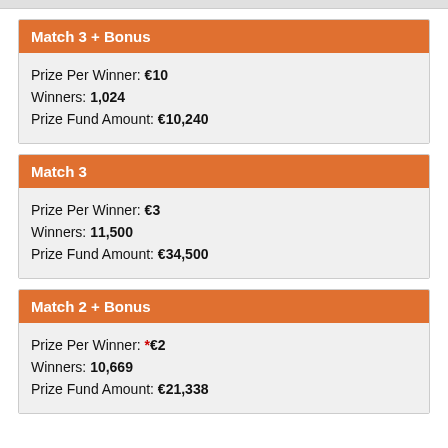Match 3 + Bonus
Prize Per Winner: €10
Winners: 1,024
Prize Fund Amount: €10,240
Match 3
Prize Per Winner: €3
Winners: 11,500
Prize Fund Amount: €34,500
Match 2 + Bonus
Prize Per Winner: *€2
Winners: 10,669
Prize Fund Amount: €21,338